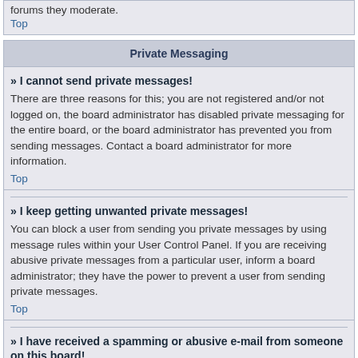forums they moderate.
Top
Private Messaging
» I cannot send private messages!
There are three reasons for this; you are not registered and/or not logged on, the board administrator has disabled private messaging for the entire board, or the board administrator has prevented you from sending messages. Contact a board administrator for more information.
Top
» I keep getting unwanted private messages!
You can block a user from sending you private messages by using message rules within your User Control Panel. If you are receiving abusive private messages from a particular user, inform a board administrator; they have the power to prevent a user from sending private messages.
Top
» I have received a spamming or abusive e-mail from someone on this board!
We are sorry to hear that. The e-mail form feature of this board includes safeguards to try and track users who send such posts, so e-mail the board administrator with a full copy of the e-mail you